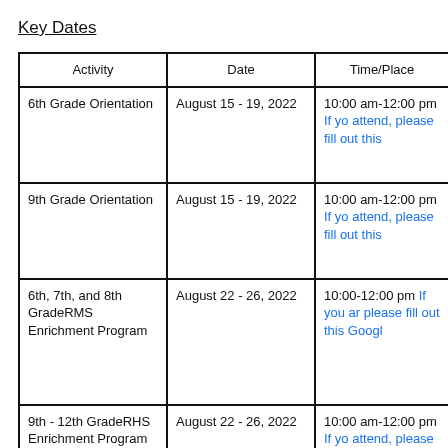Key Dates
| Activity | Date | Time/Place |
| --- | --- | --- |
| 6th Grade Orientation | August 15 - 19, 2022 | 10:00 am-12:00 pm If yo attend, please fill out this |
| 9th Grade Orientation | August 15 - 19, 2022 | 10:00 am-12:00 pm If yo attend, please fill out this |
| 6th, 7th, and 8th GradeRMS Enrichment Program | August 22 - 26, 2022 | 10:00-12:00 pm If you ar please fill out this Googl |
| 9th - 12th GradeRHS Enrichment Program | August 22 - 26, 2022 | 10:00 am-12:00 pm If yo attend, please fill out this |